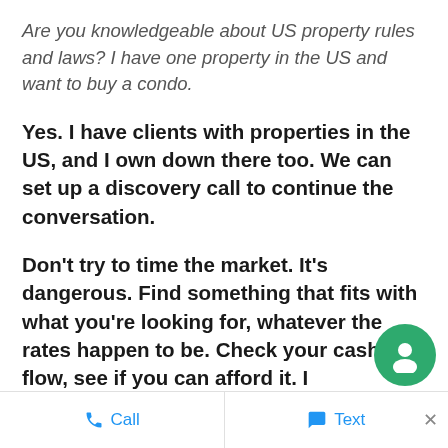Are you knowledgeable about US property rules and laws? I have one property in the US and want to buy a condo.
Yes. I have clients with properties in the US, and I own down there too. We can set up a discovery call to continue the conversation.
Don't try to time the market. It's dangerous. Find something that fits with what you're looking for, whatever the rates happen to be. Check your cash flow, see if you can afford it. I
Call   Text